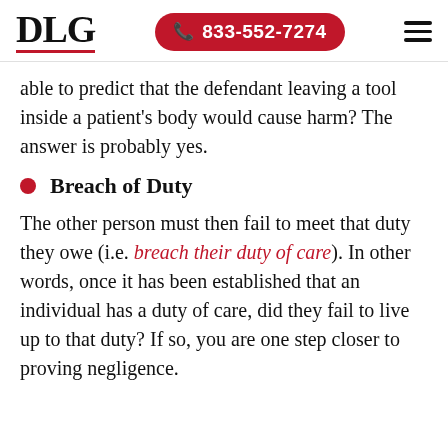DLG | 833-552-7274
able to predict that the defendant leaving a tool inside a patient’s body would cause harm? The answer is probably yes.
Breach of Duty
The other person must then fail to meet that duty they owe (i.e. breach their duty of care). In other words, once it has been established that an individual has a duty of care, did they fail to live up to that duty? If so, you are one step closer to proving negligence.